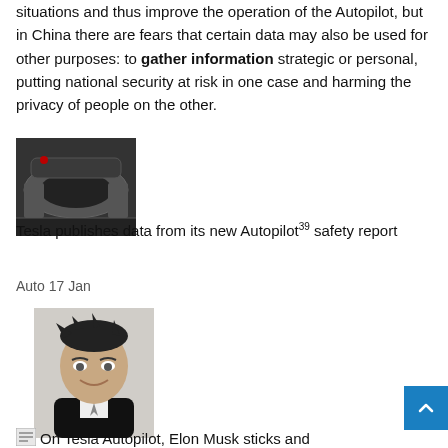situations and thus improve the operation of the Autopilot, but in China there are fears that certain data may also be used for other purposes: to gather information strategic or personal, putting national security at risk in one case and harming the privacy of people on the other.
[Figure (photo): Tesla car interior dashboard with steering wheel]
Tesla publishes data from its new Autopilot 39 safety report
Auto 17 Jan
[Figure (photo): Portrait photo of Elon Musk smiling]
On Tesla Autopilot, Elon Musk sticks and